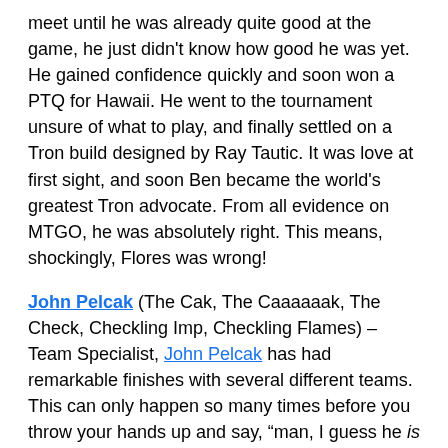meet until he was already quite good at the game, he just didn't know how good he was yet. He gained confidence quickly and soon won a PTQ for Hawaii. He went to the tournament unsure of what to play, and finally settled on a Tron build designed by Ray Tautic. It was love at first sight, and soon Ben became the world's greatest Tron advocate. From all evidence on MTGO, he was absolutely right. This means, shockingly, Flores was wrong!
John Pelcak (The Cak, The Caaaaaak, The Check, Checkling Imp, Checkling Flames) – Team Specialist, John Pelcak has had remarkable finishes with several different teams. This can only happen so many times before you throw your hands up and say, "man, I guess he is good at something." I jest, Cak's a good kid and a great player. His individual career will come around eventually.
Dan Rodemann (Rodman) – I don't know Rodman very well. From all accounts he's a good guy, but my experience with him has been limited. He's traveling with the group...